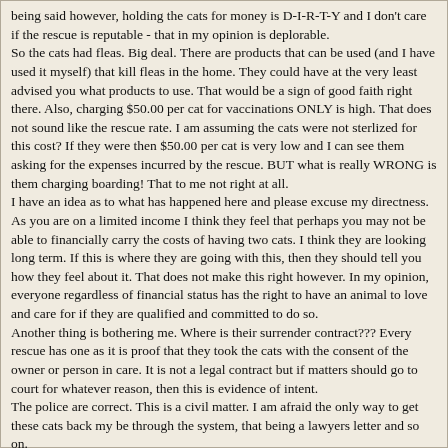being said however, holding the cats for money is D-I-R-T-Y and I don't care if the rescue is reputable - that in my opinion is deplorable.
So the cats had fleas. Big deal. There are products that can be used (and I have used it myself) that kill fleas in the home. They could have at the very least advised you what products to use. That would be a sign of good faith right there. Also, charging $50.00 per cat for vaccinations ONLY is high. That does not sound like the rescue rate. I am assuming the cats were not sterlized for this cost? If they were then $50.00 per cat is very low and I can see them asking for the expenses incurred by the rescue. BUT what is really WRONG is them charging boarding! That to me not right at all.
I have an idea as to what has happened here and please excuse my directness. As you are on a limited income I think they feel that perhaps you may not be able to financially carry the costs of having two cats. I think they are looking long term. If this is where they are going with this, then they should tell you how they feel about it. That does not make this right however. In my opinion, everyone regardless of financial status has the right to have an animal to love and care for if they are qualified and committed to do so.
Another thing is bothering me. Where is their surrender contract??? Every rescue has one as it is proof that they took the cats with the consent of the owner or person in care. It is not a legal contract but if matters should go to court for whatever reason, then this is evidence of intent.
The police are correct. This is a civil matter. I am afraid the only way to get these cats back my be through the system, that being a lawyers letter and so on.